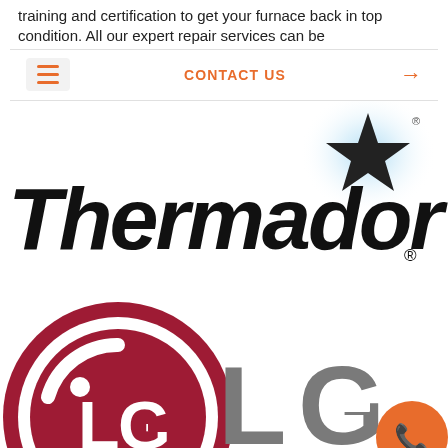training and certification to get your furnace back in top condition. All our expert repair services can be
CONTACT US →
[Figure (logo): Thermador brand logo with italic bold black text and a star with blue glow on the right, registered trademark symbol]
[Figure (logo): LG brand logo — circular red LG icon on the left and large gray LG letters on the right, with an orange phone call button in the bottom right corner]